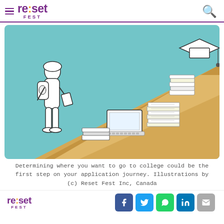re:set FEST
[Figure (illustration): Illustration of a student with a backpack standing at the start of a converging path/road. Along the path are a laptop, stacks of papers/books, more books, and a graduation cap at the far end, suggesting steps in a college application journey. Background is split between teal/light blue and sandy/tan colors.]
Determining where you want to go to college could be the first step on your application journey. Illustrations by (c) Reset Fest Inc, Canada
re:set FEST — social share icons: Facebook, Twitter, WhatsApp, LinkedIn, Email